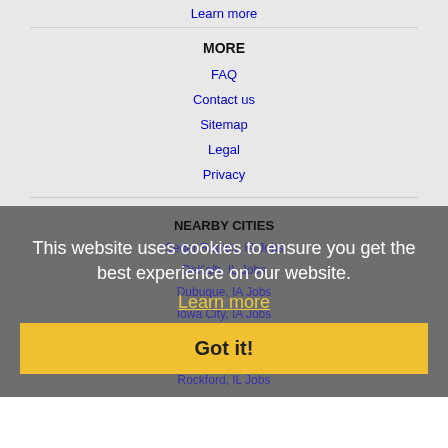Learn more
MORE
FAQ
Contact us
Sitemap
Legal
Privacy
NEARBY CITIES
Cedar Rapids, IA Jobs
DeKalb, IL Jobs
Dubuque, IA Jobs
Iowa City, IA Jobs
Moline, IL Jobs
Peoria, IL Jobs
Rockford, IL Jobs
This website uses cookies to ensure you get the best experience on our website.
Learn more
Got it!